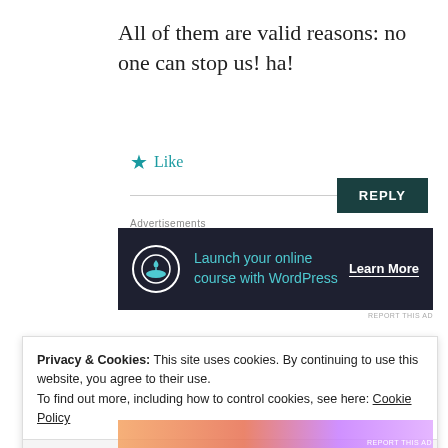All of them are valid reasons: no one can stop us! ha!
★ Like
[Figure (screenshot): Dark banner advertisement: 'Launch your online course with WordPress' with a bonsai tree icon and 'Learn More' call-to-action button]
REPORT THIS AD
Privacy & Cookies: This site uses cookies. By continuing to use this website, you agree to their use.
To find out more, including how to control cookies, see here: Cookie Policy
Close and accept